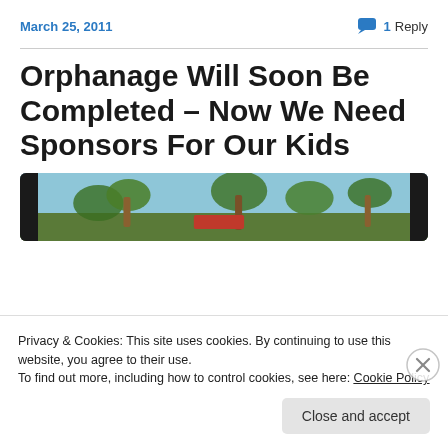March 25, 2011   1 Reply
Orphanage Will Soon Be Completed – Now We Need Sponsors For Our Kids
[Figure (photo): Photograph of trees and foliage with a red-roofed structure visible, framed in a dark border, partially visible behind a cookie consent overlay]
Privacy & Cookies: This site uses cookies. By continuing to use this website, you agree to their use.
To find out more, including how to control cookies, see here: Cookie Policy
Close and accept